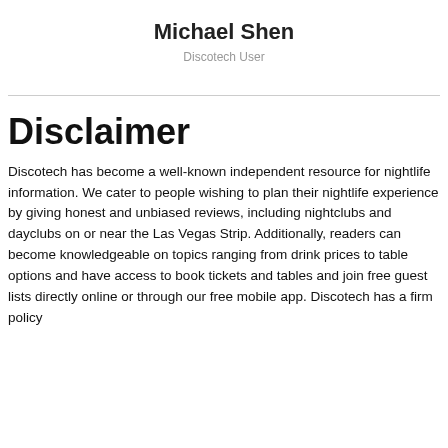Michael Shen
Discotech User
Disclaimer
Discotech has become a well-known independent resource for nightlife information. We cater to people wishing to plan their nightlife experience by giving honest and unbiased reviews, including nightclubs and dayclubs on or near the Las Vegas Strip. Additionally, readers can become knowledgeable on topics ranging from drink prices to table options and have access to book tickets and tables and join free guest lists directly online or through our free mobile app. Discotech has a firm policy